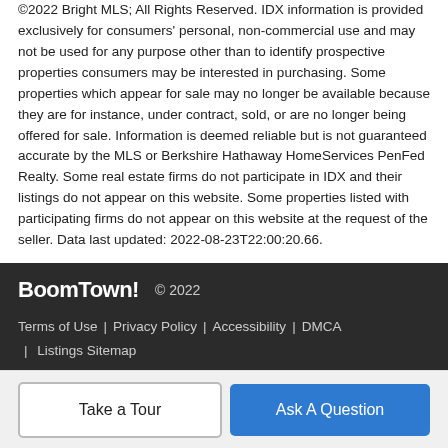©2022 Bright MLS; All Rights Reserved. IDX information is provided exclusively for consumers' personal, non-commercial use and may not be used for any purpose other than to identify prospective properties consumers may be interested in purchasing. Some properties which appear for sale may no longer be available because they are for instance, under contract, sold, or are no longer being offered for sale. Information is deemed reliable but is not guaranteed accurate by the MLS or Berkshire Hathaway HomeServices PenFed Realty. Some real estate firms do not participate in IDX and their listings do not appear on this website. Some properties listed with participating firms do not appear on this website at the request of the seller. Data last updated: 2022-08-23T22:00:20.66.
BoomTown! © 2022 | Terms of Use | Privacy Policy | Accessibility | DMCA | Listings Sitemap
Take a Tour
Ask A Question